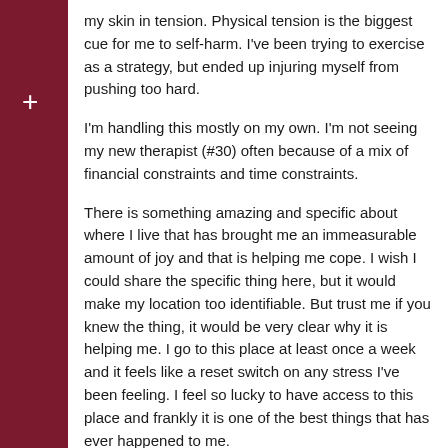my skin in tension. Physical tension is the biggest cue for me to self-harm. I've been trying to exercise as a strategy, but ended up injuring myself from pushing too hard.
I'm handling this mostly on my own. I'm not seeing my new therapist (#30) often because of a mix of financial constraints and time constraints.
There is something amazing and specific about where I live that has brought me an immeasurable amount of joy and that is helping me cope. I wish I could share the specific thing here, but it would make my location too identifiable. But trust me if you knew the thing, it would be very clear why it is helping me. I go to this place at least once a week and it feels like a reset switch on any stress I've been feeling. I feel so lucky to have access to this place and frankly it is one of the best things that has ever happened to me.